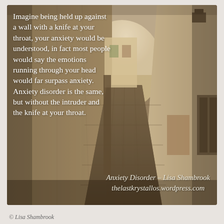[Figure (photo): Sepia-toned photo of a narrow European alleyway or cobblestone passage between tall stone/plaster walls, with light visible at the far end. Text overlaid on the left side reads the anxiety disorder quote, and attribution text appears at the bottom right.]
Imagine being held up against a wall with a knife at your throat, your anxiety would be understood, in fact most people would say the emotions running through your head would far surpass anxiety. Anxiety disorder is the same, but without the intruder and the knife at your throat.
Anxiety Disorder – Lisa Shambrook
thelastkrystallos.wordpress.com
© Lisa Shambrook